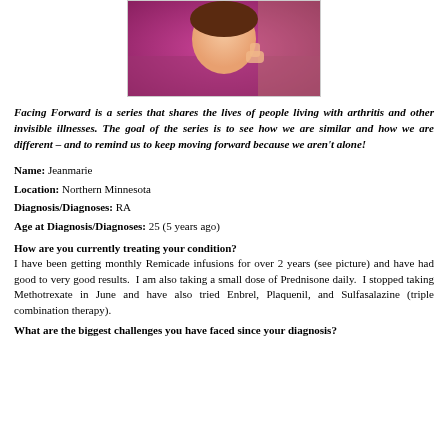[Figure (photo): A woman in a purple/magenta top giving a thumbs up, smiling at the camera]
Facing Forward is a series that shares the lives of people living with arthritis and other invisible illnesses. The goal of the series is to see how we are similar and how we are different – and to remind us to keep moving forward because we aren't alone!
Name: Jeanmarie
Location: Northern Minnesota
Diagnosis/Diagnoses: RA
Age at Diagnosis/Diagnoses: 25 (5 years ago)
How are you currently treating your condition?
I have been getting monthly Remicade infusions for over 2 years (see picture) and have had good to very good results. I am also taking a small dose of Prednisone daily. I stopped taking Methotrexate in June and have also tried Enbrel, Plaquenil, and Sulfasalazine (triple combination therapy).
What are the biggest challenges you have faced since your diagnosis?